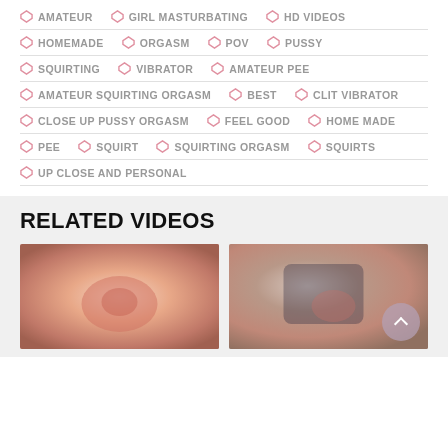AMATEUR
GIRL MASTURBATING
HD VIDEOS
HOMEMADE
ORGASM
POV
PUSSY
SQUIRTING
VIBRATOR
AMATEUR PEE
AMATEUR SQUIRTING ORGASM
BEST
CLIT VIBRATOR
CLOSE UP PUSSY ORGASM
FEEL GOOD
HOME MADE
PEE
SQUIRT
SQUIRTING ORGASM
SQUIRTS
UP CLOSE AND PERSONAL
RELATED VIDEOS
[Figure (photo): Close-up photo thumbnail (left)]
[Figure (photo): Close-up photo thumbnail (right)]